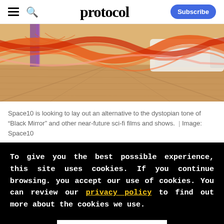protocol | Subscribe
[Figure (illustration): Abstract futuristic interior scene with orange and purple flowing wave shapes over a wooden floor with white furniture, representing a near-future living space concept from Space10.]
Space10 is looking to lay out an alternative to the dystopian tone of “Black Mirror” and other near-future sci-fi films and shows. | Image: Space10
To give you the best possible experience, this site uses cookies. If you continue browsing. you accept our use of cookies. You can review our privacy policy to find out more about the cookies we use.
Accept